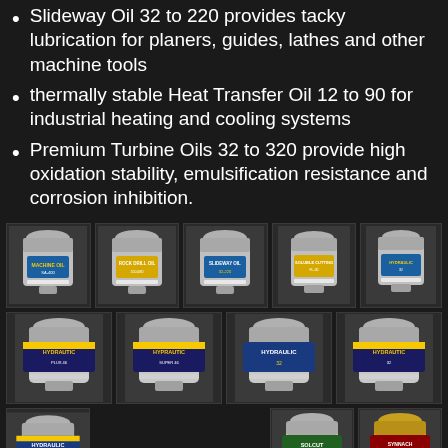Slideway Oil 32 to 220 provides tacky lubrication for planers, guides, lathes and other machine tools
thermally stable Heat Transfer Oil 12 to 90 for industrial heating and cooling systems
Premium Turbine Oils 32 to 320 provide high oxidation stability, emulsification resistance and corrosion inhibition.
[Figure (photo): Grid of industrial oil product containers (jerry cans) including Machine Oil, Rock Drill Oil, Slideway Oil, Soluble Cutting, Hydraulic oils, Solcut, and Synnach products in silver and gold containers]
[Figure (photo): Rock Drill Oil product container]
[Figure (photo): Slideway Oil product container]
[Figure (photo): Soluble Cutting product container]
[Figure (photo): Hydraulic oil product container]
[Figure (photo): Hydrautic oil product container variant 1]
[Figure (photo): Hydrautic oil product container variant 2]
[Figure (photo): Hydraulic product container variant 3]
[Figure (photo): Hydrautic oil product container variant 4]
[Figure (photo): Hydraulic product container bottom row]
[Figure (photo): Solcut product container]
[Figure (photo): Synnach product container in gold color]